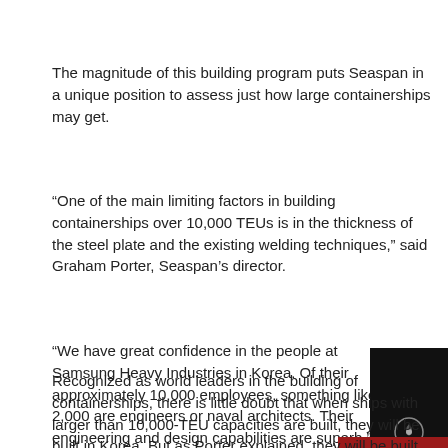The magnitude of this building program puts Seaspan in a unique position to assess just how large containerships may get.
“One of the main limiting factors in building containerships over 10,000 TEUs is in the thickness of the steel plate and the existing welding techniques,” said Graham Porter, Seaspan’s director.
“We have great confidence in the people at Samsung Heavy Industries in Korea. Of their approximately 10,000 employees, something like 2,000 are engineers or naval architects. Their engineering and design capabilities are superb,” Porter said.
Recognized as world leaders in the building of containerships, there is little doubt that when ships with larger than 10,000-TEU capacities are built, they will be built in Korea. But as Porter explained, they will be built with significantly different technologies. The 9,600-TEU currently on order have grown within the same technological scope as that developed for the 8,500-TEU ships.